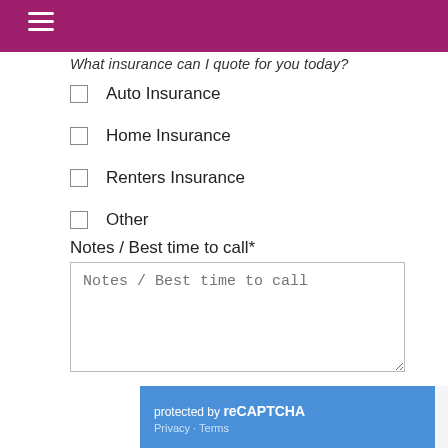What insurance can I quote for you today?
Auto Insurance
Home Insurance
Renters Insurance
Other
Notes / Best time to call*
Notes / Best time to call
Submit
protected by reCAPTCHA Privacy · Terms